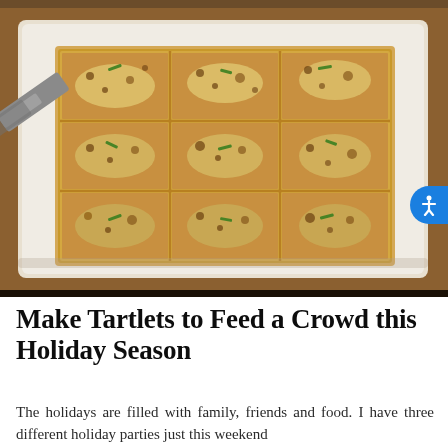[Figure (photo): A rectangular puff pastry tart cut into 9 squares on a white plate, topped with caramelized onions, shredded cheese, and fresh chives. A metal spatula is visible on the left side.]
Make Tartlets to Feed a Crowd this Holiday Season
The holidays are filled with family, friends and food. I have three different holiday parties just this weekend...